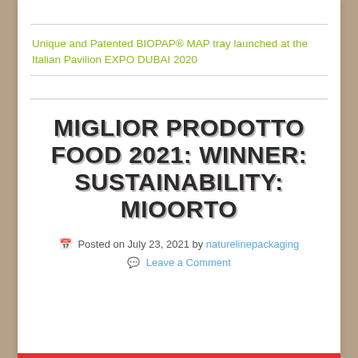Unique and Patented BIOPAP® MAP tray launched at the Italian Pavilion EXPO DUBAI 2020
MIGLIOR PRODOTTO FOOD 2021: WINNER: SUSTAINABILITY: MIOORTO
Posted on July 23, 2021 by naturelinepackaging
Leave a Comment